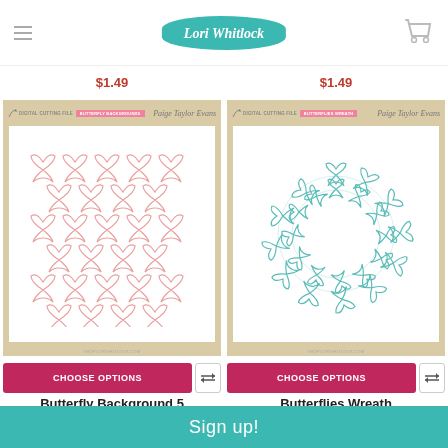Lori Whitlock
$1.49   $1.49
[Figure (illustration): Digital cutting file product card showing butterfly pattern background design (Butterfly Background 5) by Paige Taylor Evans, with pink butterfly outlines arranged in a grid pattern on a tan card]
[Figure (illustration): Digital cutting file product card showing butterflies arranged in a wreath circle (Butterflies Wreath) by Paige Taylor Evans, with teal/mint butterfly outlines on a tan card]
CHOOSE OPTIONS
CHOOSE OPTIONS
Butterfly Background 5
Paige Evans
Butterflies Wreath
Paige Evans
Sign up!